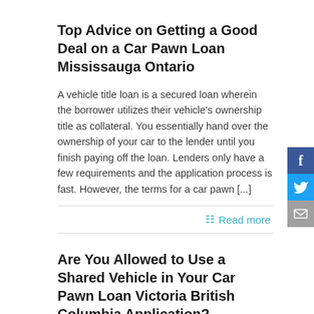Top Advice on Getting a Good Deal on a Car Pawn Loan Mississauga Ontario
A vehicle title loan is a secured loan wherein the borrower utilizes their vehicle's ownership title as collateral. You essentially hand over the ownership of your car to the lender until you finish paying off the loan. Lenders only have a few requirements and the application process is fast. However, the terms for a car pawn [...]
Read more
Are You Allowed to Use a Shared Vehicle in Your Car Pawn Loan Victoria British Columbia Application?
While having your own vehicle is a dream come true for many people, it's also a major investment. It's why some split ownership of a car with a partner. Some would argue the arrangement is similar to sharing a home as we do divide driving time and chores